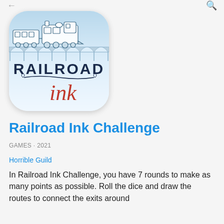[Figure (logo): Railroad Ink Challenge app icon showing a vintage train on a viaduct bridge with 'RAILROAD ink' text, blue watercolor background, rounded square shape]
Railroad Ink Challenge
GAMES · 2021
Horrible Guild
In Railroad Ink Challenge, you have 7 rounds to make as many points as possible. Roll the dice and draw the routes to connect the exits around